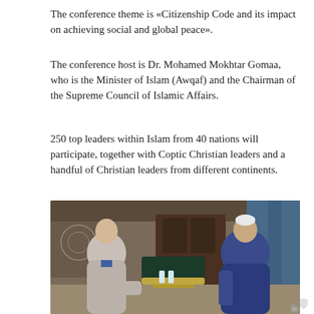The conference theme is «Citizenship Code and its impact on achieving social and global peace».
The conference host is Dr. Mohamed Mokhtar Gomaa, who is the Minister of Islam (Awqaf) and the Chairman of the Supreme Council of Islamic Affairs.
250 top leaders within Islam from 40 nations will participate, together with Coptic Christian leaders and a handful of Christian leaders from different continents.
Torp is invited as the President of European Apostolic Leaders (EAL).
[Figure (photo): Two men seated in an ornate room. On the left, a man in a light grey suit. On the right, a man in blue religious robes and white cap. Between them is a glass coffee table with water bottles.]